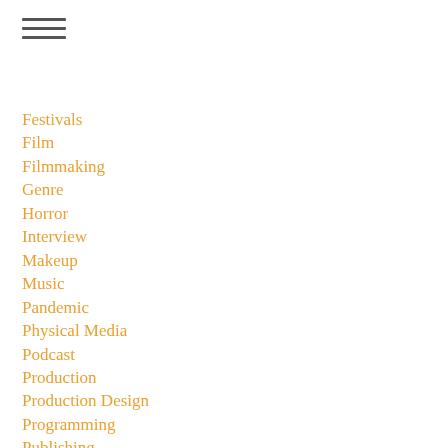[Figure (other): Hamburger menu icon with three horizontal lines]
Festivals
Film
Filmmaking
Genre
Horror
Interview
Makeup
Music
Pandemic
Physical Media
Podcast
Production
Production Design
Programming
Publishing
Revealer
Rigging
Scare Package